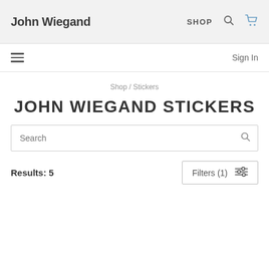John Wiegand  SHOP
Sign In
Shop / Stickers
JOHN WIEGAND STICKERS
Search
Results: 5
Filters (1)